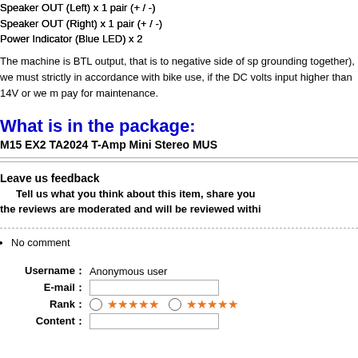Speaker OUT (Left) x 1 pair (+ / -)
Speaker OUT (Right) x 1 pair (+ / -)
Power Indicator (Blue LED) x 2
The machine is BTL output, that is to negative side of sp grounding together), we must strictly in accordance with bike use, if the DC volts input higher than 14V or we m pay for maintenance.
What is in the package:
M15 EX2 TA2024 T-Amp Mini Stereo MUSIC
Leave us feedback
Tell us what you think about this item, share you
the reviews are moderated and will be reviewed withi
No comment
| Field | Value |
| --- | --- |
| Username： | Anonymous user |
| E-mail： |  |
| Rank： | ○ ★★★★★  ○ ★★★★★ |
| Content： |  |